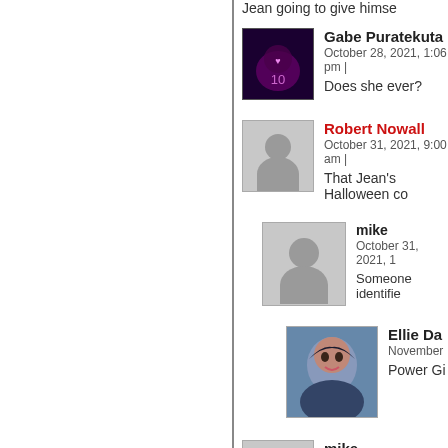Jean going to give himse
Gabe Puratekuta
October 28, 2021, 1:06 pm |
Does she ever?
Robert Nowall
October 31, 2021, 9:00 am |
That Jean's Halloween co
mike
October 31, 2021, 1
Someone identifie
Ellie Da
November
Power Gi
mike
November 2, 2021, 12:54 pm
Banner, Jeanie looking a